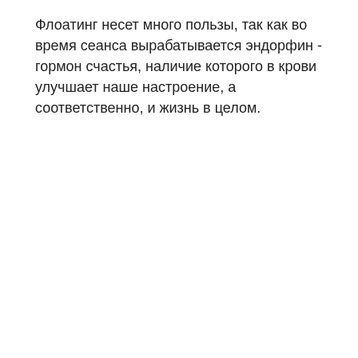Флоатинг несет много пользы, так как во время сеанса вырабатывается эндорфин - гормон счастья, наличие которого в крови улучшает наше настроение, а соответственно, и жизнь в целом.